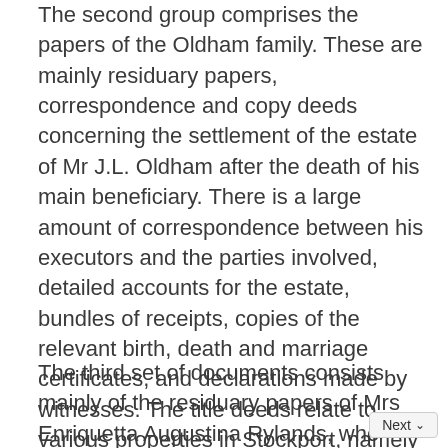The second group comprises the papers of the Oldham family. These are mainly residuary papers, correspondence and copy deeds concerning the settlement of the estate of Mr J.L. Oldham after the death of his main beneficiary. There is a large amount of correspondence between his executors and the parties involved, detailed accounts for the estate, bundles of receipts, copies of the relevant birth, death and marriage certificates, and declarations made by witnesses. The title deeds relate to various properties in Stockport, namely two cotton mills and the surrounding land, and various houses built by Charles Henry Oldham in 1903.
The third set of documents consists mainly of the residuary papers of Mrs Enriquetta Augustina Rylands, who died in 1908. It includes Inland Revenue forms,